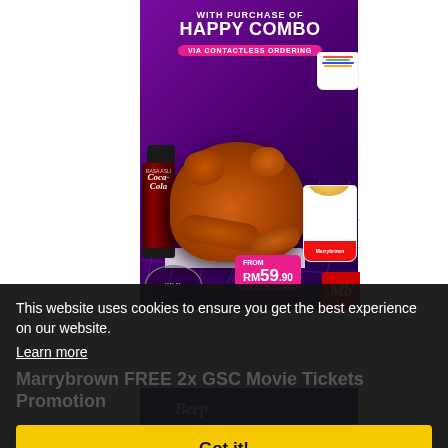[Figure (photo): Marrybrown fast food advertisement showing fried chicken pieces with Coca-Cola bottle, Happy Combo promotion, from RM59.90, via contactless ordering. Purple neon grid background.]
This website uses cookies to ensure you get the best experience on our website.
Learn more
Marrybrown FREE 2x GSC Movie Tickets Promotion
Got it!
[Figure (photo): Partial view of another advertisement at the bottom of the page, showing Beep logo on dark blue background.]